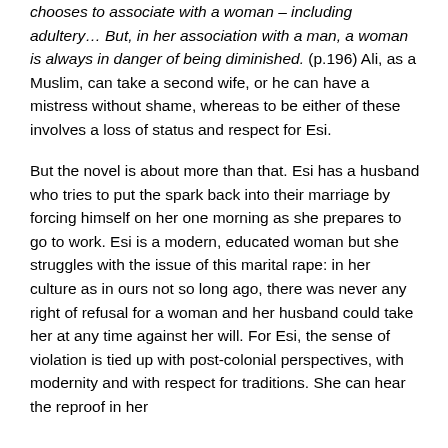chooses to associate with a woman – including adultery… But, in her association with a man, a woman is always in danger of being diminished. (p.196)  Ali, as a Muslim, can take a second wife, or he can have a mistress without shame, whereas to be either of these involves a loss of status and respect for Esi.
But the novel is about more than that.  Esi has a husband who tries to put the spark back into their marriage by forcing himself on her one morning as she prepares to go to work.  Esi is a modern, educated woman but she struggles with the issue of this marital rape: in her culture as in ours not so long ago, there was never any right of refusal for a woman and her husband could take her at any time against her will.  For Esi, the sense of violation is tied up with post-colonial perspectives, with modernity and with respect for traditions.  She can hear the reproof in her